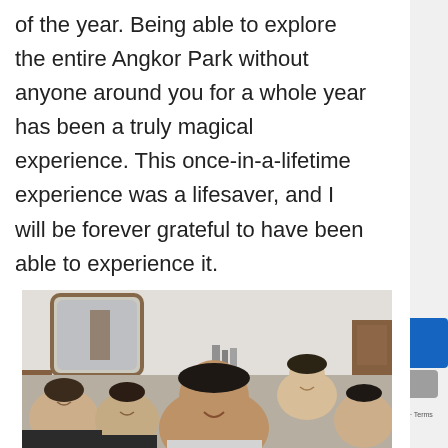of the year. Being able to explore the entire Angkor Park without anyone around you for a whole year has been a truly magical experience. This once-in-a-lifetime experience was a lifesaver, and I will be forever grateful to have been able to experience it.
[Figure (photo): Group selfie photo of five people smiling in an indoor room with a mirror and wooden furniture visible in the background.]